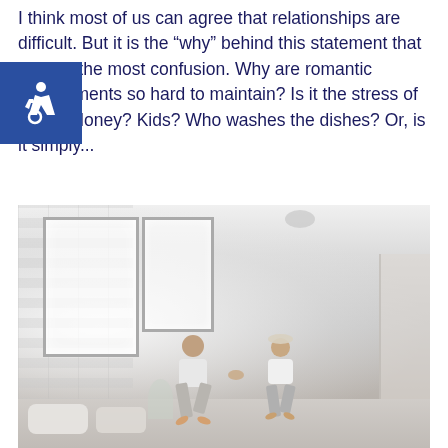I think most of us can agree that relationships are difficult. But it is the “why” behind this statement that causes the most confusion. Why are romantic commitments so hard to maintain? Is it the stress of work? Money? Kids? Who washes the dishes? Or, is it simply...
[Figure (photo): An older couple jumping joyfully on a bed together holding hands, in a bright bedroom with white brick walls and large windows]